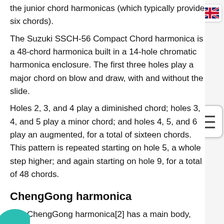the junior chord harmonicas (which typically provide six chords). The Suzuki SSCH-56 Compact Chord harmonica is a 48-chord harmonica built in a 14-hole chromatic harmonica enclosure. The first three holes play a major chord on blow and draw, with and without the slide. Holes 2, 3, and 4 play a diminished chord; holes 3, 4, and 5 play a minor chord; and holes 4, 5, and 6 play an augmented, for a total of sixteen chords. This pattern is repeated starting on hole 5, a whole step higher; and again starting on hole 9, for a total of 48 chords.
ChengGong harmonica
The ChengGong harmonica[2] has a main body, and a sliding mouthpiece. The body is a 24-hole
[Figure (other): UK flag icon in top-right corner]
[Figure (other): Table of contents icon with numbered list lines in mid-right area]
[Figure (other): Partial teal circle visible at bottom-left]